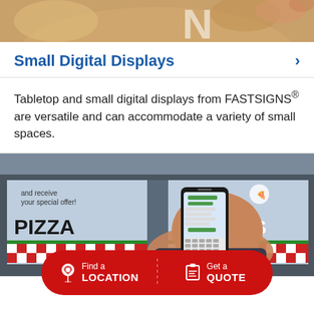[Figure (photo): Partial view of a decorative food item (appears to be a baked good or similar) with a stylized letter visible, seen from above on a light background.]
Small Digital Displays
Tabletop and small digital displays from FASTSIGNS® are versatile and can accommodate a variety of small spaces.
[Figure (photo): A hand holding a smartphone showing a text message conversation, photographed in front of a pizza restaurant storefront with window graphics reading 'PIZZA' and 'SALADS' and a red-and-white checkered border. Sign text reads 'and receive your special offer!']
Find a LOCATION | Get a QUOTE